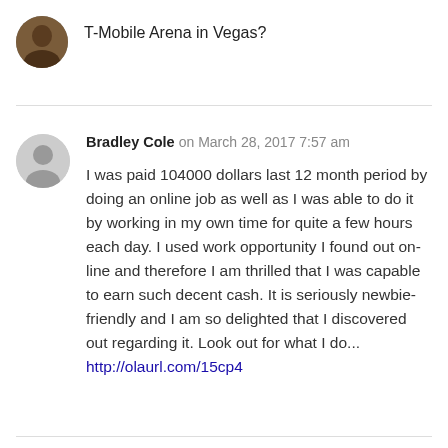T-Mobile Arena in Vegas?
Bradley Cole on March 28, 2017 7:57 am

I was paid 104000 dollars last 12 month period by doing an online job as well as I was able to do it by working in my own time for quite a few hours each day. I used work opportunity I found out on-line and therefore I am thrilled that I was capable to earn such decent cash. It is seriously newbie-friendly and I am so delighted that I discovered out regarding it. Look out for what I do... http://olaurl.com/15cp4